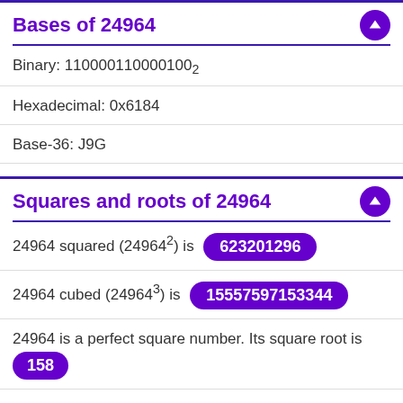Bases of 24964
Binary: 110000110000100₂
Hexadecimal: 0x6184
Base-36: J9G
Squares and roots of 24964
24964 squared (24964²) is 623201296
24964 cubed (24964³) is 15557597153344
24964 is a perfect square number. Its square root is 158
The cube root of 24964 is 29.2261353547